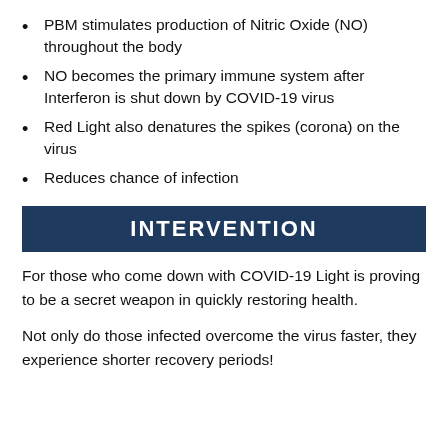PBM stimulates production of Nitric Oxide (NO) throughout the body
NO becomes the primary immune system after Interferon is shut down by COVID-19 virus
Red Light also denatures the spikes (corona) on the virus
Reduces chance of infection
INTERVENTION
For those who come down with COVID-19 Light is proving to be a secret weapon in quickly restoring health.
Not only do those infected overcome the virus faster, they experience shorter recovery periods!